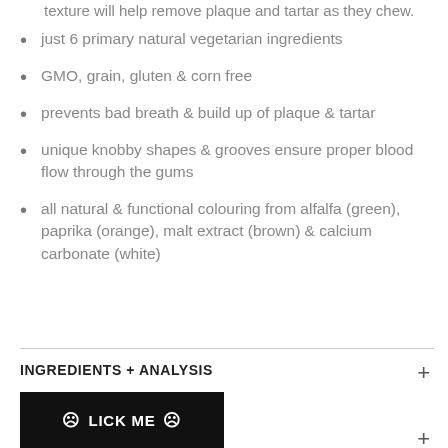texture will help remove plaque and tartar as they chew.
just 6 primary natural vegetarian ingredients
GMO, grain, gluten & corn free
prevents bad breath & build up of plaque & tartar
unique knobby shapes & grooves ensure proper blood flow through the gums
all natural & functional colouring from alfalfa (green), paprika (orange), malt extract (brown) & calcium carbonate (white)
INGREDIENTS + ANALYSIS
[Figure (other): Black button/banner with smiley face icons and text LICK ME]